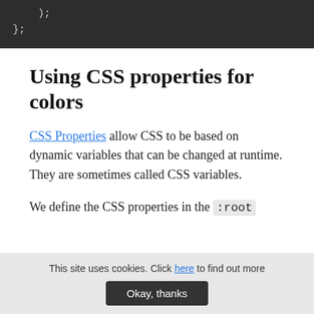[Figure (screenshot): Dark code block showing ); and }; in monospace font on dark background]
Using CSS properties for colors
CSS Properties allow CSS to be based on dynamic variables that can be changed at runtime. They are sometimes called CSS variables.
We define the CSS properties in the :root
This site uses cookies. Click here to find out more
Okay, thanks